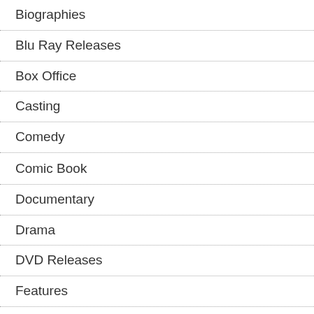Biographies
Blu Ray Releases
Box Office
Casting
Comedy
Comic Book
Documentary
Drama
DVD Releases
Features
Festivals
First Impressions